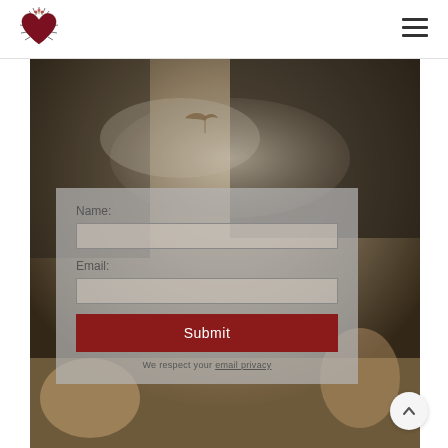[Figure (logo): Sacred heart logo with spikes/rays and small floral crown on top, dark red/maroon heart]
[Figure (illustration): Hamburger menu icon (three horizontal lines) in top right corner]
[Figure (photo): Background painting showing classical/baroque scene with dove/bird in flight among figures and clouds, warm brown and grey tones]
Name:
Email:
Submit
We respect your email privacy